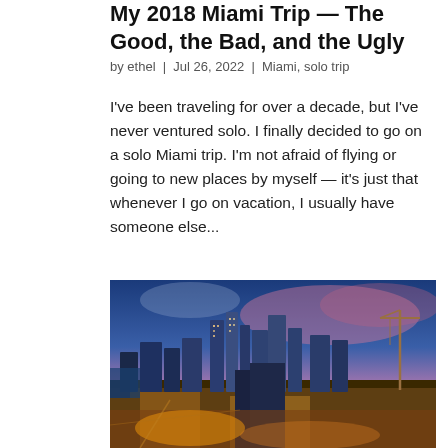My 2018 Miami Trip — The Good, the Bad, and the Ugly
by ethel | Jul 26, 2022 | Miami, solo trip
I've been traveling for over a decade, but I've never ventured solo. I finally decided to go on a solo Miami trip. I'm not afraid of flying or going to new places by myself — it's just that whenever I go on vacation, I usually have someone else...
[Figure (photo): Aerial night/dusk panoramic photo of Miami city skyline with illuminated buildings, pink and blue sky at sunset, cranes visible on the right side.]